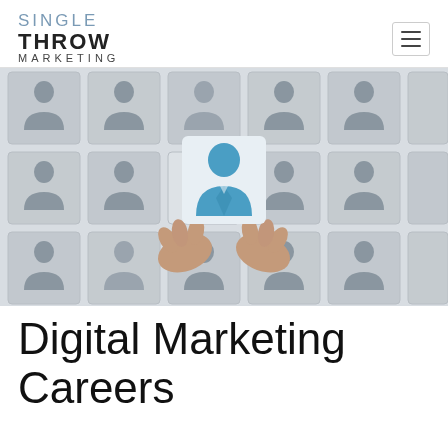SINGLE THROW MARKETING
[Figure (photo): Hands placing a blue person-shaped puzzle piece into a jigsaw puzzle filled with gray business person silhouettes, representing recruitment or team building.]
Digital Marketing Careers